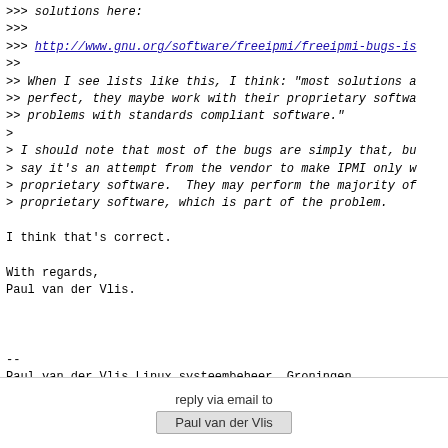>>> solutions here:
>>>
>>> http://www.gnu.org/software/freeipmi/freeipmi-bugs-is
>>
>> When I see lists like this, I think: "most solutions a
>> perfect, they maybe work with their proprietary softwa
>> problems with standards compliant software."
>
> I should note that most of the bugs are simply that, bu
> say it's an attempt from the vendor to make IPMI only w
> proprietary software.  They may perform the majority of
> proprietary software, which is part of the problem.

I think that's correct.

With regards,
Paul van der Vlis.


--
Paul van der Vlis Linux systeembeheer, Groningen
http://www.vandervlis.nl
reply via email to
Paul van der Vlis